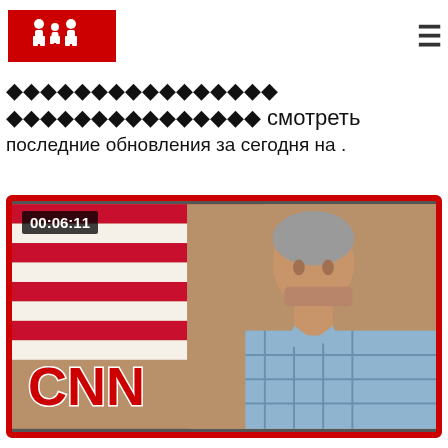[Figure (logo): Red rectangle logo with white silhouette figures of people]
[Figure (other): Hamburger menu icon (three horizontal lines)]
����������������
���������������� смотреть последние обновления за сегодня на .
[Figure (screenshot): CNN video thumbnail showing a middle-aged man with grey hair in front of an American flag background. Video duration badge shows 00:06:11. CNN logo in bottom left.]